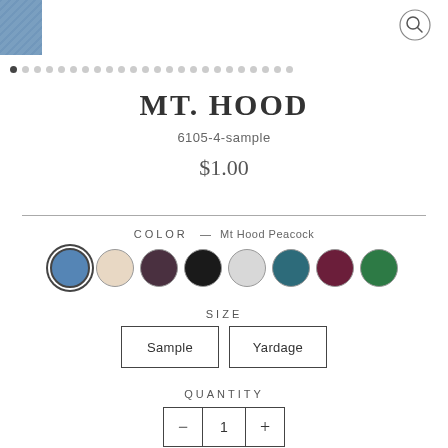[Figure (photo): Fabric texture thumbnail, blue/denim color, top-left corner]
[Figure (other): Search/magnify icon circle, top-right corner]
[Figure (other): Dot navigation row with first dot filled/active]
MT. HOOD
6105-4-sample
$1.00
COLOR  — Mt Hood Peacock
[Figure (other): Color swatches: blue (selected), cream, plum, black, silver, teal, wine, green]
SIZE
Sample   Yardage
QUANTITY
1